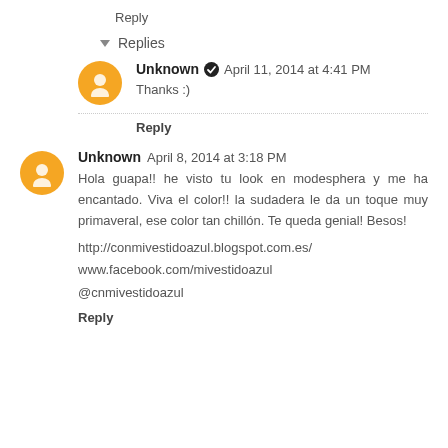Reply
▾ Replies
Unknown ✔ April 11, 2014 at 4:41 PM
Thanks :)
Reply
Unknown April 8, 2014 at 3:18 PM
Hola guapa!! he visto tu look en modesphera y me ha encantado. Viva el color!! la sudadera le da un toque muy primaveral, ese color tan chillón. Te queda genial! Besos!
http://conmivestidoazul.blogspot.com.es/
www.facebook.com/mivestidoazul
@cnmivestidoazul
Reply